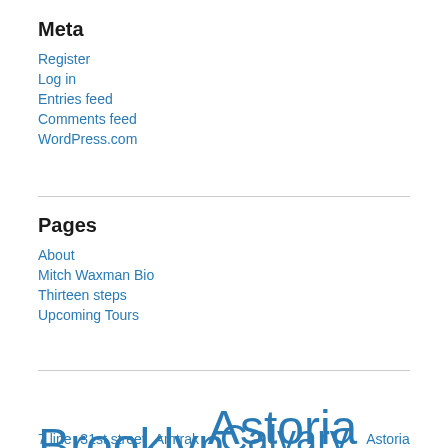Meta
Register
Log in
Entries feed
Comments feed
WordPress.com
Pages
About
Mitch Waxman Bio
Thirteen steps
Upcoming Tours
7 line  31st street  Amtrak  Astoria  Astoria Park  Blissville  Brooklyn  Calvary Cemetery...